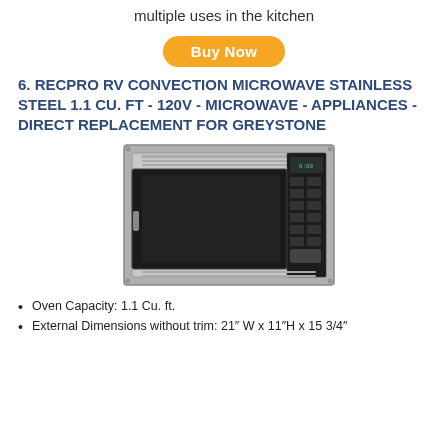multiple uses in the kitchen
[Figure (other): Buy Now button (orange rounded rectangle)]
6. RECPRO RV CONVECTION MICROWAVE STAINLESS STEEL 1.1 CU. FT - 120V - MICROWAVE - APPLIANCES - DIRECT REPLACEMENT FOR GREYSTONE
[Figure (photo): Stainless steel built-in RV convection microwave with black door and control panel on the right, mounted in a trim frame]
Oven Capacity: 1.1 Cu. ft.
External Dimensions without trim: 21″ W x 11″H x 15 3/4″